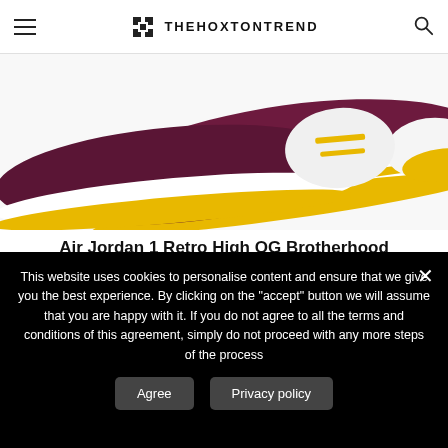THEHOXTONTREND
[Figure (photo): Air Jordan 1 Retro High OG Brotherhood sneakers, two shoes shown at an angle, purple/maroon upper with white and yellow accents, yellow sole.]
Air Jordan 1 Retro High OG Brotherhood
Available 26th February 2022
£140
*Sneaker Club*
This website uses cookies to personalise content and ensure that we give you the best experience. By clicking on the "accept" button we will assume that you are happy with it. If you do not agree to all the terms and conditions of this agreement, simply do not proceed with any more steps of the process